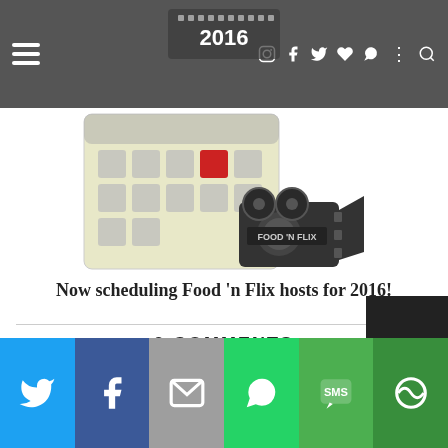2016 / Food 'N Flix header navigation
[Figure (illustration): Calendar with highlighted date and Food N Flix movie camera logo]
Now scheduling Food 'n Flix hosts for 2016!
9 COMMENTS
Unknown
September 10, 2016 at 6:50 PM
[Figure (infographic): Social media share bar with Twitter, Facebook, Email, WhatsApp, SMS, and More buttons]